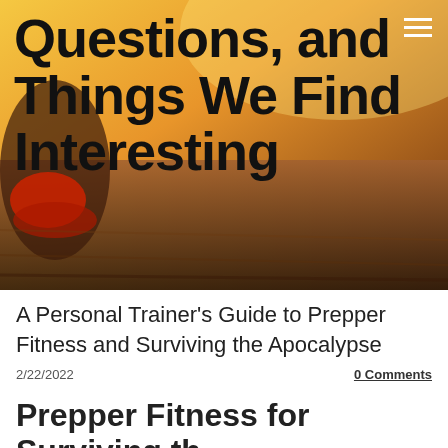[Figure (photo): Hero image of running shoes on a track with warm orange/golden sunlight, overlaid with large bold text reading 'Questions, and Things We Find Interesting']
Questions, and Things We Find Interesting
A Personal Trainer's Guide to Prepper Fitness and Surviving the Apocalypse
2/22/2022   0 Comments
Prepper Fitness for Surviving th